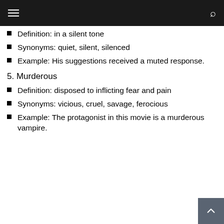Definition: in a silent tone
Synonyms: quiet, silent, silenced
Example: His suggestions received a muted response.
5. Murderous
Definition: disposed to inflicting fear and pain
Synonyms: vicious, cruel, savage, ferocious
Example: The protagonist in this movie is a murderous vampire.